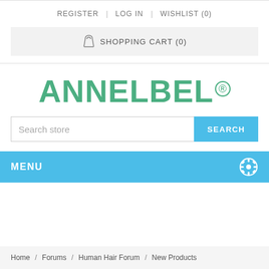REGISTER   LOG IN   WISHLIST (0)
SHOPPING CART (0)
[Figure (logo): ANNELBEL registered trademark logo in green text]
Search store  SEARCH
MENU
Home / Forums / Human Hair Forum / New Products